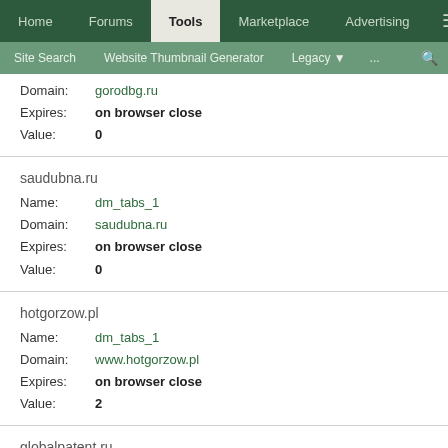Home | Forums | Tools | Marketplace | Advertising
Site Search | Website Thumbnail Generator | Legacy | ... | search
Domain: gorodbg.ru
Expires: on browser close
Value: 0
saudubna.ru
Name: dm_tabs_1
Domain: saudubna.ru
Expires: on browser close
Value: 0
hotgorzow.pl
Name: dm_tabs_1
Domain: www.hotgorzow.pl
Expires: on browser close
Value: 2
globalpatent.ru
Name: dm_tabs_1
Domain: globalpatent.ru
Expires: on browser close
Value: 0